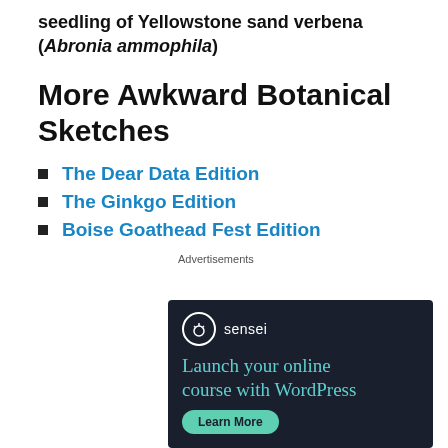seedling of Yellowstone sand verbena (Abronia ammophila)
More Awkward Botanical Sketches
The Dear Data Edition
The Ginkgo Edition
Boise Goathead Fest Edition
Advertisements
[Figure (infographic): Sensei advertisement with dark background. Logo: tree icon in circle with 'sensei' text. Headline: 'Launch your online course with WordPress'. Button: 'Learn More'.]